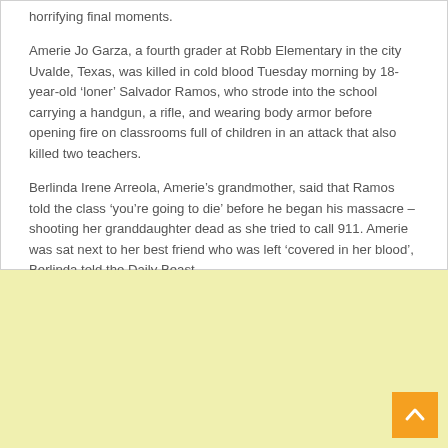horrifying final moments.
Amerie Jo Garza, a fourth grader at Robb Elementary in the city Uvalde, Texas, was killed in cold blood Tuesday morning by 18-year-old ‘loner’ Salvador Ramos, who strode into the school carrying a handgun, a rifle, and wearing body armor before opening fire on classrooms full of children in an attack that also killed two teachers.
Berlinda Irene Arreola, Amerie’s grandmother, said that Ramos told the class ‘you’re going to die’ before he began his massacre – shooting her granddaughter dead as she tried to call 911. Amerie was sat next to her best friend who was left ‘covered in her blood’, Berlinda told the Daily Beast.